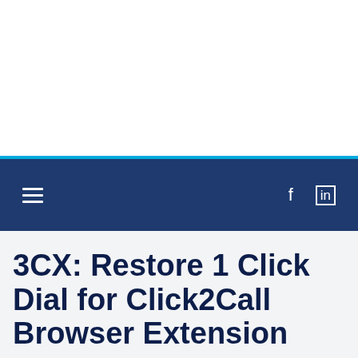3CX: Restore 1 Click Dial for Click2Call Browser Extension